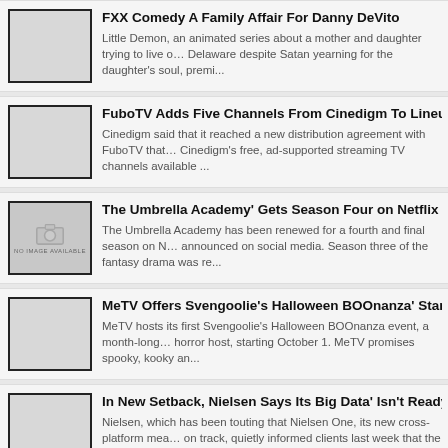FXX Comedy A Family Affair For Danny DeVito — Little Demon, an animated series about a mother and daughter trying to live o… Delaware despite Satan yearning for the daughter's soul, premi...
FuboTV Adds Five Channels From Cinedigm To Lineup — Cinedigm said that it reached a new distribution agreement with FuboTV that… Cinedigm's free, ad-supported streaming TV channels available ...
The Umbrella Academy' Gets Season Four on Netflix — The Umbrella Academy has been renewed for a fourth and final season on N… announced on social media. Season three of the fantasy drama was re...
MeTV Offers Svengoolie's Halloween BOOnanza' Starting Octobe… — MeTV hosts its first Svengoolie's Halloween BOOnanza event, a month-long… horror host, starting October 1. MeTV promises spooky, kooky an...
In New Setback, Nielsen Says Its Big Data' Isn't Ready for Transa… — Nielsen, which has been touting that Nielsen One, its new cross-platform mea… on track, quietly informed clients last week that the big data ...
World Rugby Sevens on Peacock, CNBC — NBC Sports covers the HSBC World Rugby Sevens Series August 27-28 fro… Park in Los Angeles. Sevens rugby is a faster version of the trad...
Ralf Jacob Joins TelevisaUnivision as EVP Global Broadcast Eng… — TelevisaUnivision said it hired Ralf Jacob as executive VP of global broadcas…